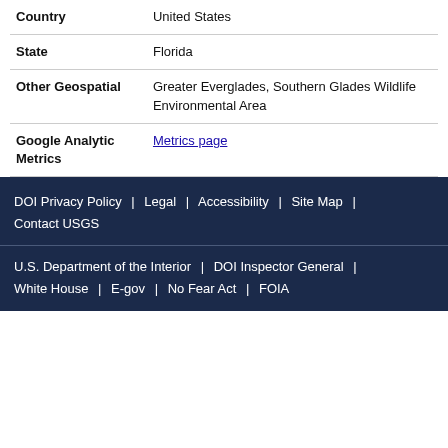| Country | United States |
| State | Florida |
| Other Geospatial | Greater Everglades, Southern Glades Wildlife Environmental Area |
| Google Analytic Metrics | Metrics page |
DOI Privacy Policy | Legal | Accessibility | Site Map | Contact USGS
U.S. Department of the Interior | DOI Inspector General | White House | E-gov | No Fear Act | FOIA